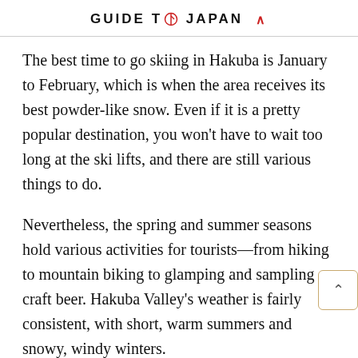GUIDE TO JAPAN ∧
The best time to go skiing in Hakuba is January to February, which is when the area receives its best powder-like snow. Even if it is a pretty popular destination, you won't have to wait too long at the ski lifts, and there are still various things to do.
Nevertheless, the spring and summer seasons hold various activities for tourists—from hiking to mountain biking to glamping and sampling craft beer. Hakuba Valley's weather is fairly consistent, with short, warm summers and snowy, windy winters.
Where is Hakuba Ski Resort?
Hakuba lies to the west of Nagano City, less than